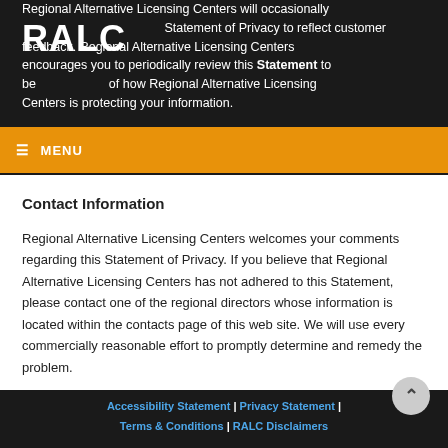Regional Alternative Licensing Centers will occasionally update this Statement of Privacy to reflect customer feedback. Regional Alternative Licensing Centers encourages you to periodically review this Statement to be aware of how Regional Alternative Licensing Centers is protecting your information.
[Figure (logo): RALC logo in white text on dark background]
Contact Information
Regional Alternative Licensing Centers welcomes your comments regarding this Statement of Privacy. If you believe that Regional Alternative Licensing Centers has not adhered to this Statement, please contact one of the regional directors whose information is located within the contacts page of this web site. We will use every commercially reasonable effort to promptly determine and remedy the problem.
Accessibility Statement | Privacy Statement | Terms & Conditions | RALC Disclaimers